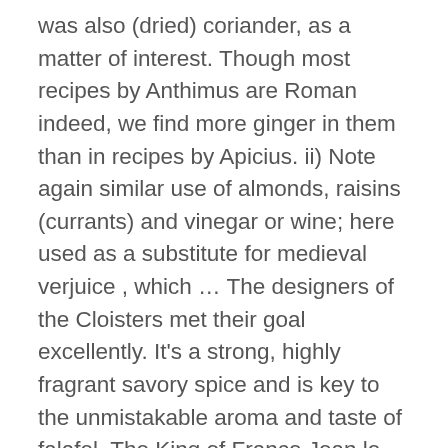was also (dried) coriander, as a matter of interest. Though most recipes by Anthimus are Roman indeed, we find more ginger in them than in recipes by Apicius. ii) Note again similar use of almonds, raisins (currants) and vinegar or wine; here used as a substitute for medieval verjuice , which … The designers of the Cloisters met their goal excellently. It's a strong, highly fragrant savory spice and is key to the unmistakable aroma and taste of falafel. The King of France Jean le Bon for instance, in the 14th century, bought more cinnamon flowers (a very expensive minor spice) than cinnamon (major spice five times less expensive). Rue (Ruta graveolens) Rue (Ruta graveolens) David Midgley via Flickr CC … Place it above or by a crib to protect infants. Culinary plants and herbs were grown for use during the summer and were preserved to add to winter fare. In 1195, Hildegarde de Bingen already used sugar